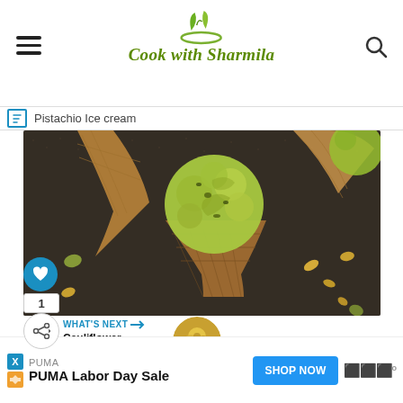Cook with Sharmila
Pistachio Ice cream
[Figure (photo): Close-up photo of pistachio ice cream scoops in waffle cones on a dark textured background with pistachios scattered around]
WHAT'S NEXT → Cauliflower Stir Fry | Go...
[Figure (photo): Thumbnail of cauliflower stir fry dish in a round bowl]
PUMA
PUMA Labor Day Sale
SHOP NOW